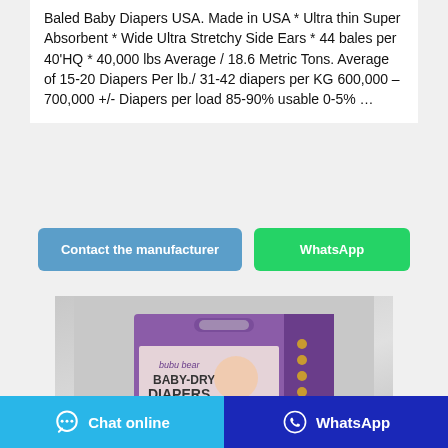Baled Baby Diapers USA. Made in USA * Ultra thin Super Absorbent * Wide Ultra Stretchy Side Ears * 44 bales per 40'HQ * 40,000 lbs Average / 18.6 Metric Tons. Average of 15-20 Diapers Per lb./ 31-42 diapers per KG 600,000 – 700,000 +/- Diapers per load 85-90% usable 0-5% …
[Figure (illustration): Two buttons: 'Contact the manufacturer' (blue) and 'WhatsApp' (green)]
[Figure (photo): Product photo of bubu bear BABY-DRY DIAPERS box in purple packaging on gray background]
[Figure (screenshot): Bottom navigation bar with 'Chat online' button (light blue) and 'WhatsApp' button (dark blue)]